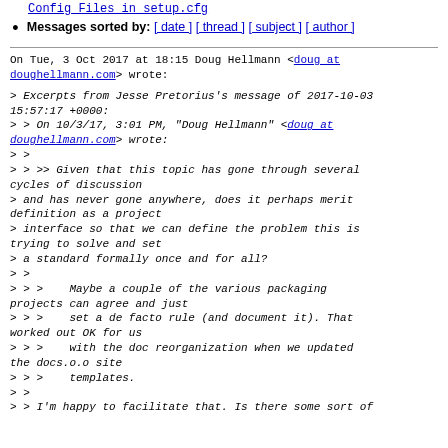Config Files in setup.cfg
Messages sorted by: [ date ] [ thread ] [ subject ] [ author ]
On Tue, 3 Oct 2017 at 18:15 Doug Hellmann <doug at doughellmann.com> wrote:
> Excerpts from Jesse Pretorius's message of 2017-10-03 15:57:17 +0000:
> > On 10/3/17, 3:01 PM, "Doug Hellmann" <doug at doughellmann.com> wrote:
> >
> > >> Given that this topic has gone through several cycles of discussion
> and has never gone anywhere, does it perhaps merit definition as a project
> interface so that we can define the problem this is trying to solve and set
> a standard formally once and for all?
> >
> > >    Maybe a couple of the various packaging projects can agree and just
> > >    set a de facto rule (and document it). That worked out OK for us
> > >    with the doc reorganization when we updated the docs.o.o site
> > >    templates.
> >
> > I'm happy to facilitate that. Is there some sort of